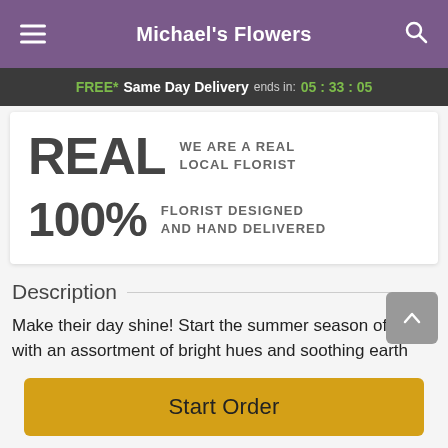Michael's Flowers
FREE* Same Day Delivery ends in: 05 : 33 : 05
REAL WE ARE A REAL LOCAL FLORIST
100% FLORIST DESIGNED AND HAND DELIVERED
Description
Make their day shine! Start the summer season off right with an assortment of bright hues and soothing earth
Start Order